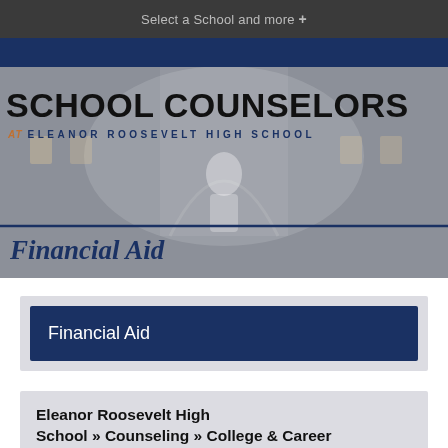Select a School and more +
[Figure (screenshot): Hero banner with blurred school building background, large text 'SCHOOL COUNSELORS' and subtitle 'AT ELEANOR ROOSEVELT HIGH SCHOOL', with 'Financial Aid' overlay at bottom]
Financial Aid
Eleanor Roosevelt High School » Counseling » College & Career